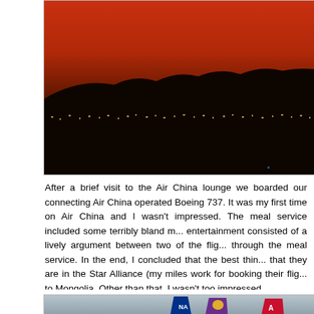[Figure (photo): Sunset/dusk cityscape photo with orange-red sky, silhouetted mountains and city lights visible along the horizon]
After a brief visit to the Air China lounge we boarded our connecting Air China operated Boeing 737. It was my first time on Air China and I wasn't impressed. The meal service included some terribly bland m... entertainment consisted of a lively argument between two of the flig... through the meal service. In the end, I concluded that the best thin... that they are in the Star Alliance (my miles work for booking their flig... to Mongolia. Other than that, I wasn't too impressed.
[Figure (photo): Airport tarmac photo showing multiple airline tail fins including ANA, Thai Airways, and American Airlines aircraft parked at gates]